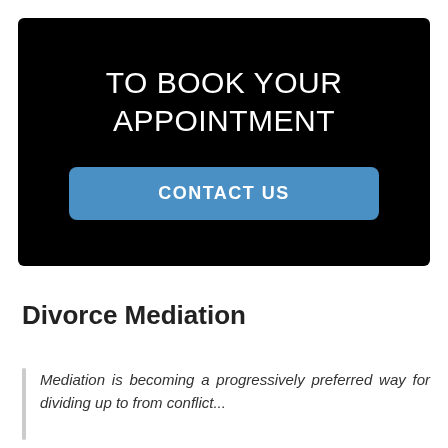[Figure (other): Black banner with heading 'TO BOOK YOUR APPOINTMENT' and a blue 'CONTACT US' button]
Divorce Mediation
Mediation is becoming a progressively preferred way for dividing up to from conflict...